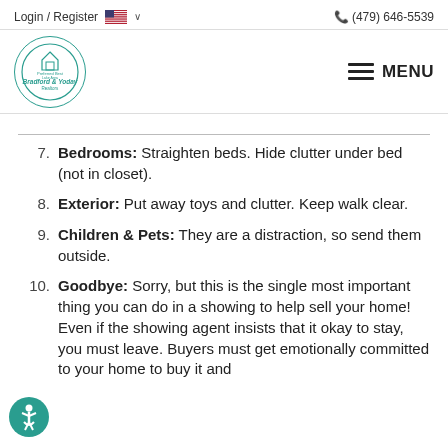Login / Register  (479) 646-5539
[Figure (logo): Bradford & Yoday Realtors circular logo in teal]
7. Bedrooms: Straighten beds. Hide clutter under bed (not in closet).
8. Exterior: Put away toys and clutter. Keep walk clear.
9. Children & Pets: They are a distraction, so send them outside.
10. Goodbye: Sorry, but this is the single most important thing you can do in a showing to help sell your home! Even if the showing agent insists that it okay to stay, you must leave. Buyers must get emotionally committed to your home to buy it and